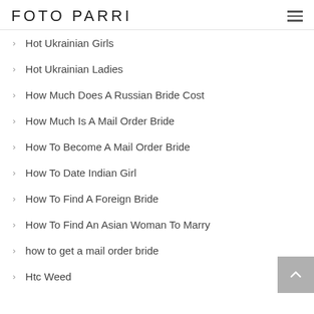FOTO PARRI
Hot Ukrainian Girls
Hot Ukrainian Ladies
How Much Does A Russian Bride Cost
How Much Is A Mail Order Bride
How To Become A Mail Order Bride
How To Date Indian Girl
How To Find A Foreign Bride
How To Find An Asian Woman To Marry
how to get a mail order bride
Htc Weed